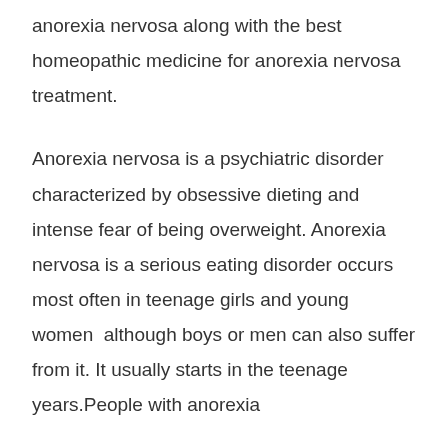anorexia nervosa along with the best homeopathic medicine for anorexia nervosa treatment.
Anorexia nervosa is a psychiatric disorder characterized by obsessive dieting and intense fear of being overweight. Anorexia nervosa is a serious eating disorder occurs most often in teenage girls and young women  although boys or men can also suffer from it. It usually starts in the teenage years.People with anorexia